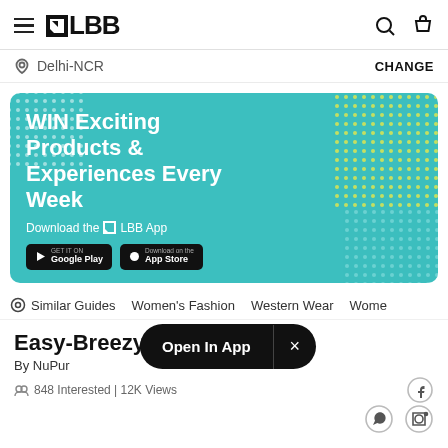LBB navigation bar with hamburger menu, LBB logo, search and bag icons
Delhi-NCR  CHANGE
[Figure (screenshot): Teal promotional banner: WIN Exciting Products & Experiences Every Week. Download the LBB App. Google Play and App Store buttons. Decorative dot patterns in corners.]
Similar Guides   Women's Fashion   Western Wear   Wome
Easy-Breezy
By NuPur
848 Interested | 12K Views
Open In App  ×